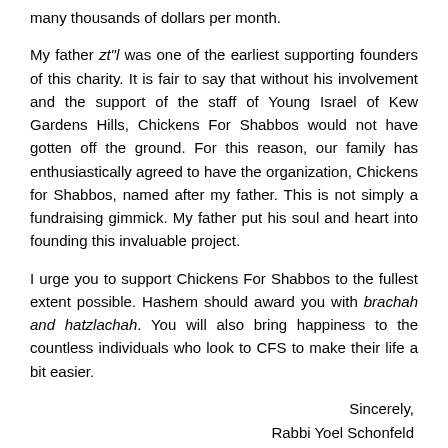many thousands of dollars per month.
My father zt"l was one of the earliest supporting founders of this charity. It is fair to say that without his involvement and the support of the staff of Young Israel of Kew Gardens Hills, Chickens For Shabbos would not have gotten off the ground. For this reason, our family has enthusiastically agreed to have the organization, Chickens for Shabbos, named after my father. This is not simply a fundraising gimmick. My father put his soul and heart into founding this invaluable project.
I urge you to support Chickens For Shabbos to the fullest extent possible. Hashem should award you with brachah and hatzlachah. You will also bring happiness to the countless individuals who look to CFS to make their life a bit easier.
Sincerely,
Rabbi Yoel Schonfeld
Visit www.chickensforshabbos.com to place a donation, or mail to Young Israel of Kew Gardens Hills / Tzedakah Fund, 150-05 70th